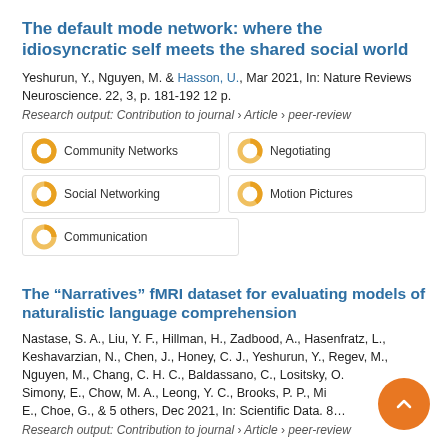The default mode network: where the idiosyncratic self meets the shared social world
Yeshurun, Y., Nguyen, M. & Hasson, U., Mar 2021, In: Nature Reviews Neuroscience. 22, 3, p. 181-192 12 p.
Research output: Contribution to journal › Article › peer-review
[Figure (infographic): Five badge-style keyword indicators with donut/circle icons: Community Networks (100%), Negotiating (~33%), Social Networking (~66%), Motion Pictures (~40%), Communication (~25%)]
The “Narratives” fMRI dataset for evaluating models of naturalistic language comprehension
Nastase, S. A., Liu, Y. F., Hillman, H., Zadbood, A., Hasenfratz, L., Keshavarzian, N., Chen, J., Honey, C. J., Yeshurun, Y., Regev, M., Nguyen, M., Chang, C. H. C., Baldassano, C., Lositsky, O., Simony, E., Chow, M. A., Leong, Y. C., Brooks, P. P., Mi... E., Choe, G., & 5 others, Dec 2021, In: Scientific Data. 8...
Research output: Contribution to journal › Article › peer-review